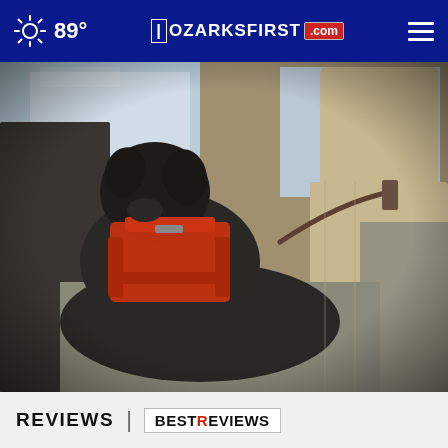89° | OZARKSFIRST.com
[Figure (photo): A dark-colored dog wearing a red harness/vest sitting in the back seat of a car, looking out the window. The dog appears to be on a car seat cover, with a leash attached.]
REVIEWS | BESTREVIEWS